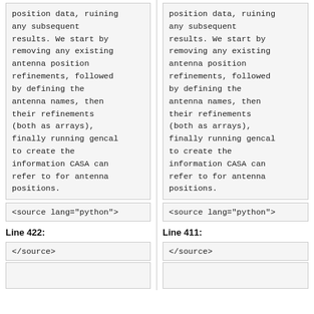position data, ruining any subsequent results. We start by removing any existing antenna position refinements, followed by defining the antenna names, then their refinements (both as arrays), finally running gencal to create the information CASA can refer to for antenna positions.
position data, ruining any subsequent results. We start by removing any existing antenna position refinements, followed by defining the antenna names, then their refinements (both as arrays), finally running gencal to create the information CASA can refer to for antenna positions.
<source lang="python">
<source lang="python">
Line 422:
Line 411:
</source>
</source>